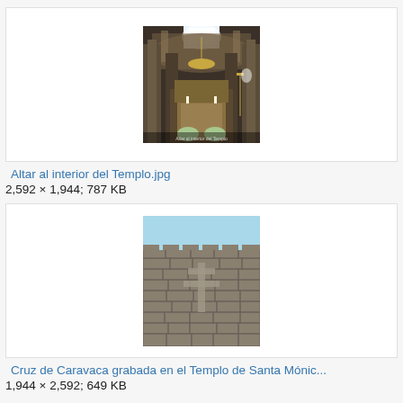[Figure (photo): Interior photo of a church altar with ornate baroque architecture, columns, chandelier and bright window light above]
Altar al interior del Templo.jpg
2,592 × 1,944; 787 KB
[Figure (photo): Exterior photo of a stone brick wall of a temple/church with a carved cross (Cruz de Caravaca) engraved in the stonework, blue sky above]
Cruz de Caravaca grabada en el Templo de Santa Mónic...
1,944 × 2,592; 649 KB